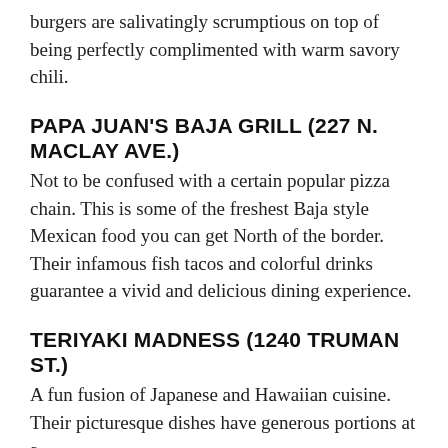burgers are salivatingly scrumptious on top of being perfectly complimented with warm savory chili.
PAPA JUAN'S BAJA GRILL (227 N. MACLAY AVE.)
Not to be confused with a certain popular pizza chain. This is some of the freshest Baja style Mexican food you can get North of the border. Their infamous fish tacos and colorful drinks guarantee a vivid and delicious dining experience.
TERIYAKI MADNESS (1240 TRUMAN ST.)
A fun fusion of Japanese and Hawaiian cuisine. Their picturesque dishes have generous portions at a